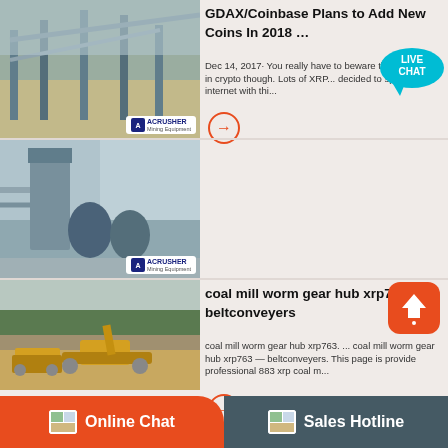[Figure (photo): Mining/industrial facility with blue conveyor structures and ACRUSHER Mining Equipment logo]
GDAX/Coinbase Plans to Add New Coins In 2018 …
Dec 14, 2017· You really have to beware the rumor mill in crypto though. Lots of XRP... decided to spam the internet with thi...
[Figure (photo): Coal mill/grinding equipment facility with ACRUSHER Mining Equipment logo]
coal mill worm gear hub xrp763 beltconveyers
coal mill worm gear hub xrp763. ... coal mill worm gear hub xrp763 — beltconveyers. This page is provide professional 883 xrp coal m...
[Figure (photo): Outdoor mining site with yellow excavation equipment and trees]
Boiler auxiliaries in a coal fired power plant
Oct 11, 2017· Technical Details of Bowl Mill– XRP 903 Coal Mill Designation XRP 903 X – 3 Phase 50Hz Supply B… Raymond
Online Chat
Sales Hotline